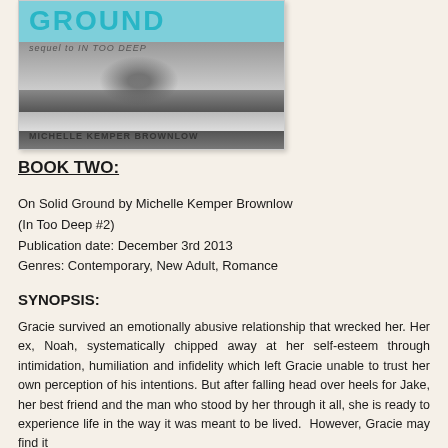[Figure (photo): Book cover for 'On Solid Ground' by Michelle Kemper Brownlow, sequel to In Too Deep, showing a beach scene with a figure walking.]
BOOK TWO:
On Solid Ground by Michelle Kemper Brownlow
(In Too Deep #2)
Publication date: December 3rd 2013
Genres: Contemporary, New Adult, Romance
SYNOPSIS:
Gracie survived an emotionally abusive relationship that wrecked her. Her ex, Noah, systematically chipped away at her self-esteem through intimidation, humiliation and infidelity which left Gracie unable to trust her own perception of his intentions. But after falling head over heels for Jake, her best friend and the man who stood by her through it all, she is ready to experience life in the way it was meant to be lived.  However, Gracie may find it